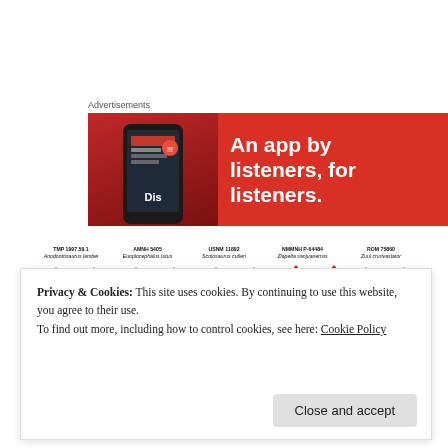Advertisements
[Figure (photo): Red advertisement banner with a smartphone showing a podcast app. Text reads 'An app by listeners, for listeners.']
[Figure (illustration): Scientific illustration showing five ankylosaur skull specimens in dorsal view with color-coded osteoderms. Specimens labeled: TMP 1997.59.1 Anodontosaurus lambei, AMNH 5405 Euoplocephalus tutus, USNM 11892 Scolosaurus cutleri, NMMNH P-64484 Ziapelta sanjuanensis, ROM 75860 Zuul crurivastator.]
Privacy & Cookies: This site uses cookies. By continuing to use this website, you agree to their use.
To find out more, including how to control cookies, see here: Cookie Policy